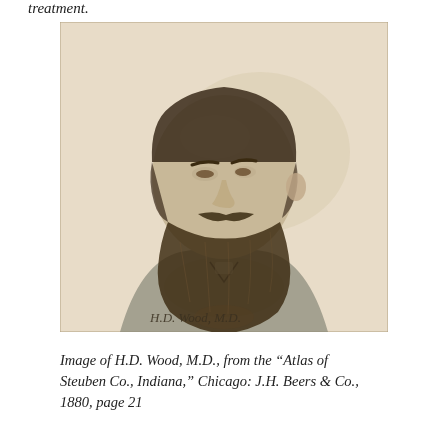treatment.
[Figure (photo): Black and white engraved portrait of H.D. Wood, M.D., a bearded man in 19th century attire, shown from the shoulders up in three-quarter profile. A handwritten signature reading 'H.D. Wood, M.D.' appears at the bottom of the portrait.]
Image of H.D. Wood, M.D., from the “Atlas of Steuben Co., Indiana,” Chicago: J.H. Beers & Co., 1880, page 21